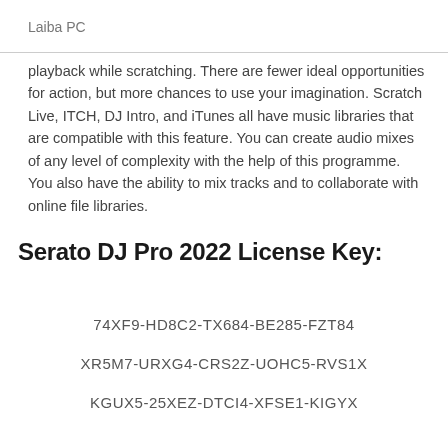Laiba PC
playback while scratching. There are fewer ideal opportunities for action, but more chances to use your imagination. Scratch Live, ITCH, DJ Intro, and iTunes all have music libraries that are compatible with this feature. You can create audio mixes of any level of complexity with the help of this programme. You also have the ability to mix tracks and to collaborate with online file libraries.
Serato DJ Pro 2022 License Key:
74XF9-HD8C2-TX684-BE285-FZT84
XR5M7-URXG4-CRS2Z-UOHC5-RVS1X
KGUX5-25XEZ-DTCI4-XFSE1-KIGYX